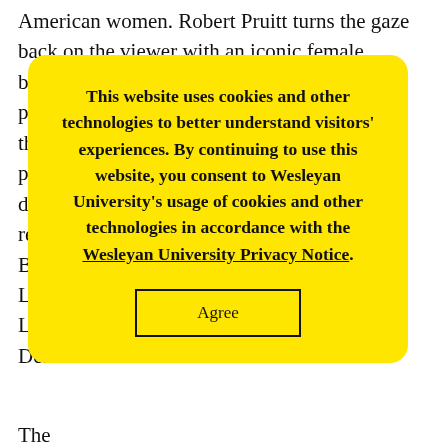American women. Robert Pruitt turns the gaze back on the viewer with an iconic female basketball play[er…] to the phra[se…] n dias[pora…] repr[esentation…] re Bea[r…] enn Ligo[n…] Law[…] Van Der[…]
This website uses cookies and other technologies to better understand visitors' experiences. By continuing to use this website, you consent to Wesleyan University's usage of cookies and other technologies in accordance with the Wesleyan University Privacy Notice.
The AR[…] Afro[…] ssor of A[…] er DAC[…] curators were Anna Plom '17, Miranda Gohn '17,